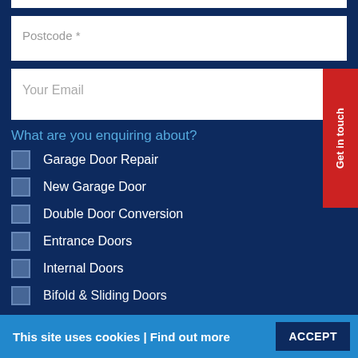Postcode *
Your Email
What are you enquiring about?
Garage Door Repair
New Garage Door
Double Door Conversion
Entrance Doors
Internal Doors
Bifold & Sliding Doors
Get in touch
This site uses cookies | Find out more   ACCEPT